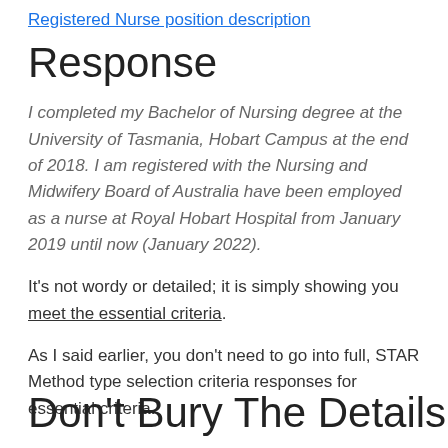Registered Nurse position description
Response
I completed my Bachelor of Nursing degree at the University of Tasmania, Hobart Campus at the end of 2018. I am registered with the Nursing and Midwifery Board of Australia have been employed as a nurse at Royal Hobart Hospital from January 2019 until now (January 2022).
It's not wordy or detailed; it is simply showing you meet the essential criteria.
As I said earlier, you don't need to go into full, STAR Method type selection criteria responses for essential criteria.
Don't Bury The Details